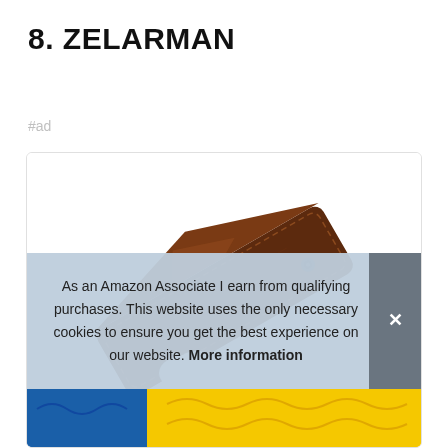8. ZELARMAN
#ad
[Figure (photo): Product photo of a dark brown leather glasses/sunglasses case, elongated envelope style with a snap button closure, shown at an angle on a white background. Below the case, partially visible, is what appears to be a blue and yellow packaged product.]
As an Amazon Associate I earn from qualifying purchases. This website uses the only necessary cookies to ensure you get the best experience on our website. More information